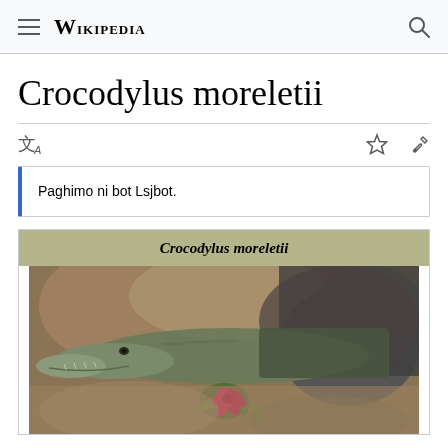Wikipedia
Crocodylus moreletii
Paghimo ni bot Lsjbot.
| Crocodylus moreletii |
| --- |
| [crocodile image] |